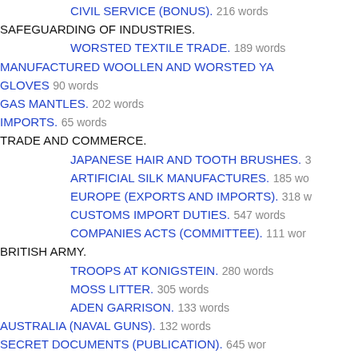CIVIL SERVICE (BONUS). 216 words
SAFEGUARDING OF INDUSTRIES.
WORSTED TEXTILE TRADE. 189 words
MANUFACTURED WOOLLEN AND WORSTED YA
GLOVES 90 words
GAS MANTLES. 202 words
IMPORTS. 65 words
TRADE AND COMMERCE.
JAPANESE HAIR AND TOOTH BRUSHES. 3
ARTIFICIAL SILK MANUFACTURES. 185 wo
EUROPE (EXPORTS AND IMPORTS). 318 w
CUSTOMS IMPORT DUTIES. 547 words
COMPANIES ACTS (COMMITTEE). 111 wor
BRITISH ARMY.
TROOPS AT KONIGSTEIN. 280 words
MOSS LITTER. 305 words
ADEN GARRISON. 133 words
AUSTRALIA (NAVAL GUNS). 132 words
SECRET DOCUMENTS (PUBLICATION). 645 wor
SCOTLAND.